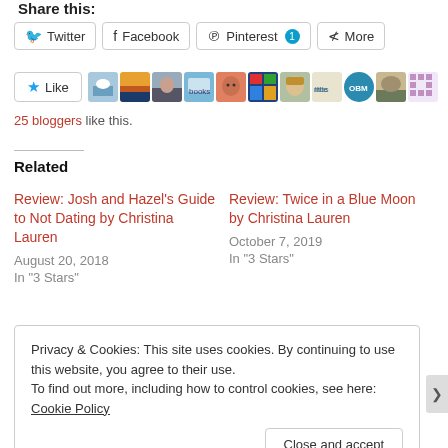Share this:
Twitter  Facebook  Pinterest 1  More
Like  [blogger avatars]
25 bloggers like this.
Related
Review: Josh and Hazel's Guide to Not Dating by Christina Lauren
August 20, 2018
In "3 Stars"
Review: Twice in a Blue Moon by Christina Lauren
October 7, 2019
In "3 Stars"
Privacy & Cookies: This site uses cookies. By continuing to use this website, you agree to their use.
To find out more, including how to control cookies, see here: Cookie Policy
Close and accept